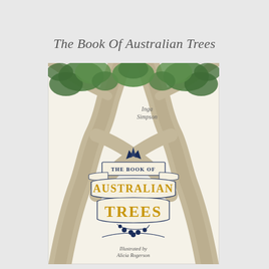The Book Of Australian Trees
[Figure (illustration): Book cover of 'The Book Of Australian Trees' by Inga Simpson, illustrated by Alicia Rogerson. Features symmetrical eucalyptus trees with green foliage, decorative banner-style title lettering in navy and gold reading 'THE BOOK OF AUSTRALIAN TREES', with botanical illustration elements.]